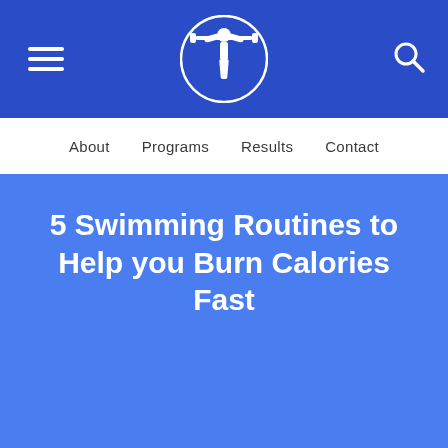Navigation bar with hamburger menu, fitness logo, and search icon
About  Programs  Results  Contact
5 Swimming Routines to Help you Burn Calories Fast